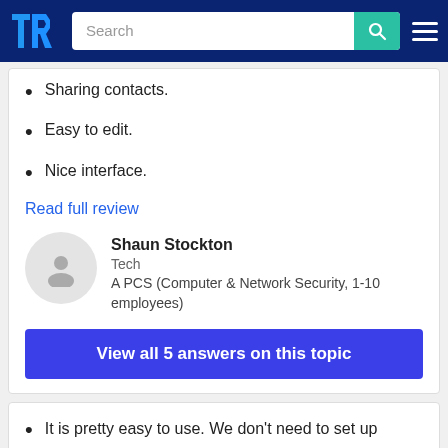TrustRadius - Search
Sharing contacts.
Easy to edit.
Nice interface.
Read full review
Shaun Stockton
Tech
A PCS (Computer & Network Security, 1-10 employees)
View all 5 answers on this topic
It is pretty easy to use. We don't need to set up